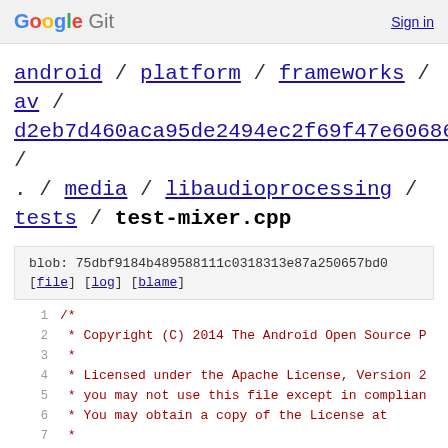Google Git   Sign in
android / platform / frameworks / av / d2eb7d460aca95de2494ec2f69f47e606864a0cf / . / media / libaudioprocessing / tests / test-mixer.cpp
blob: 75dbf9184b489588111c0318313e87a250657bd0
[file] [log] [blame]
1   /*
2    * Copyright (C) 2014 The Android Open Source P
3    *
4    * Licensed under the Apache License, Version 2
5    * you may not use this file except in complian
6    * You may obtain a copy of the License at
7    *
8    *      http://www.apache.org/licenses/LICENSE-